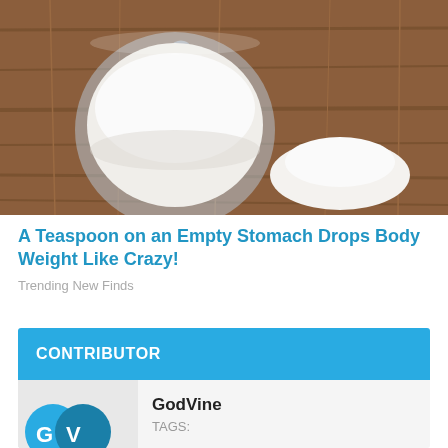[Figure (photo): Photo of a clear plastic measuring scoop filled with white powder (protein or supplement powder) on a wooden surface, with a small pile of white powder beside it.]
A Teaspoon on an Empty Stomach Drops Body Weight Like Crazy!
Trending New Finds
CONTRIBUTOR
GodVine
TAGS: